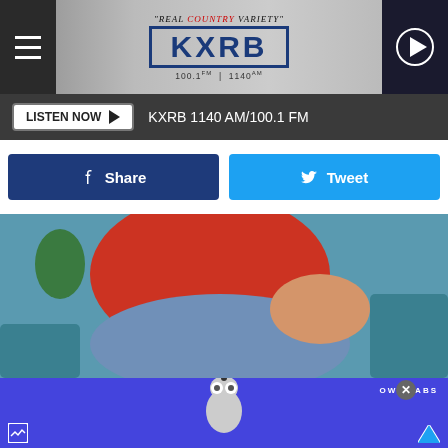"REAL COUNTRY VARIETY" KXRB 100.1 FM | 1140 AM
LISTEN NOW ► KXRB 1140 AM/100.1 FM
Share   Tweet
[Figure (photo): Person in red shirt sitting on blue couch holding their lower back/hip in pain]
[Figure (photo): OWL LABS advertisement banner with owl-shaped device on blue background]